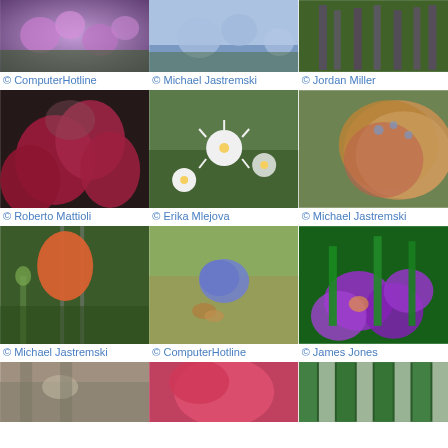[Figure (photo): Purple flowers, close-up garden photo]
© ComputerHotline
[Figure (photo): Light blue/lavender wildflowers]
© Michael Jastremski
[Figure (photo): Purple spike flowers, tall green plants]
© Jordan Miller
[Figure (photo): Bright red/pink geranium flowers with dark foliage]
© Roberto Mattioli
[Figure (photo): Small white daisy-like flowers in a field]
© Erika Mlejova
[Figure (photo): Orange/pink tulip petal with water droplets]
© Michael Jastremski
[Figure (photo): Orange tulip bud with green leaves and fence]
© Michael Jastremski
[Figure (photo): Blue flower with bee, garden background]
© ComputerHotline
[Figure (photo): Bright purple freesia/crocus flowers with green leaves]
© James Jones
[Figure (photo): Partial photo - stone/pavement with small plant]
[Figure (photo): Partial photo - pink/red flower]
[Figure (photo): Partial photo - striped green/white plant or grass]